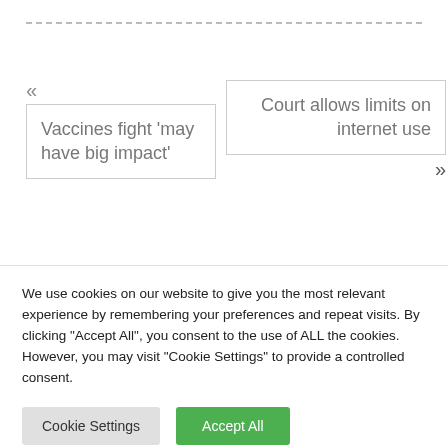« Vaccines fight 'may have big impact'
Court allows limits on internet use »
[Figure (other): Partially visible subscribe card with 'SUBSCRIBE TODAY' text in purple/maroon bold font, with rounded white card and shadow]
We use cookies on our website to give you the most relevant experience by remembering your preferences and repeat visits. By clicking "Accept All", you consent to the use of ALL the cookies. However, you may visit "Cookie Settings" to provide a controlled consent.
Cookie Settings
Accept All